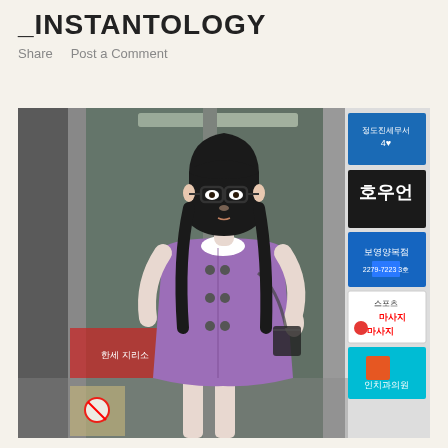_INSTANTOLOGY
Share    Post a Comment
[Figure (photo): A young woman with glasses and long dark hair wearing a purple double-breasted short-sleeve dress stands in front of a building entrance with Korean signage on the right side, including signs for a massage parlor, dental clinic, and other businesses. The street scene is in Seoul, South Korea.]